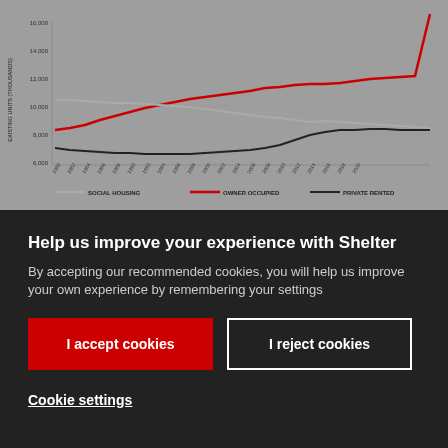[Figure (line-chart): Line chart showing existing housing units (thousands) over time with three series: Owner Occupied (red, highest, trending up from ~10,000 to ~16,000+), Private Rented (black, trending up from ~2,000 to ~4,000+), Social Housing (gray, trending down from ~5,000 to ~4,000)]
Help us improve your experience with Shelter
By accepting our recommended cookies, you will help us improve your own experience by remembering your settings
I accept cookies
I reject cookies
Cookie settings